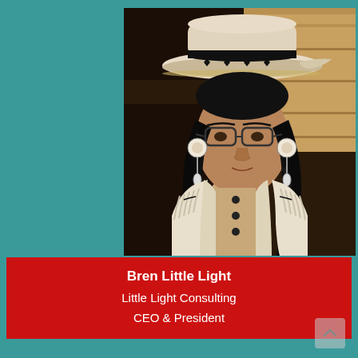[Figure (photo): Portrait photo of Bren Little Light wearing a wide-brimmed hat, glasses, large circular earrings, and a white fringed jacket with dark buttons, seated indoors against a dark background with wood-toned wall behind.]
Bren Little Light
Little Light Consulting
CEO & President